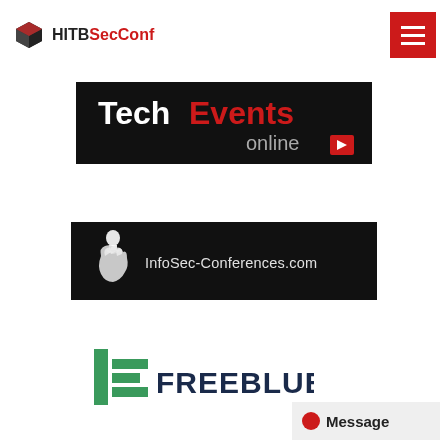HITBSecConf
[Figure (logo): TechEvents online logo — white bold 'Tech' then red bold 'Events' on black background, with 'online' in gray and a red play button icon]
[Figure (logo): InfoSec-Conferences.com logo — fist holding microphone icon on black background with white text 'InfoSec-Conferences.com']
[Figure (logo): Freeblue logo — green vertical bar with horizontal bars and the text 'FREEBLUE' in dark blue]
[Figure (other): Message button with red dot and bold text 'Message']